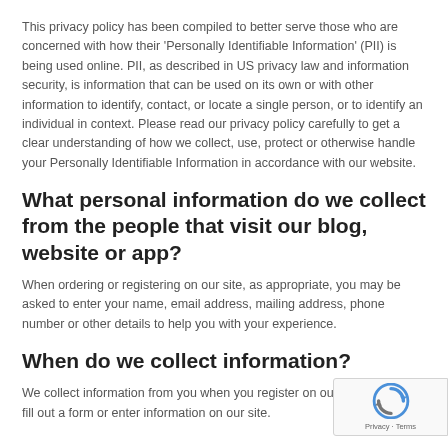This privacy policy has been compiled to better serve those who are concerned with how their 'Personally Identifiable Information' (PII) is being used online. PII, as described in US privacy law and information security, is information that can be used on its own or with other information to identify, contact, or locate a single person, or to identify an individual in context. Please read our privacy policy carefully to get a clear understanding of how we collect, use, protect or otherwise handle your Personally Identifiable Information in accordance with our website.
What personal information do we collect from the people that visit our blog, website or app?
When ordering or registering on our site, as appropriate, you may be asked to enter your name, email address, mailing address, phone number or other details to help you with your experience.
When do we collect information?
We collect information from you when you register on our site, an order, fill out a form or enter information on our site.